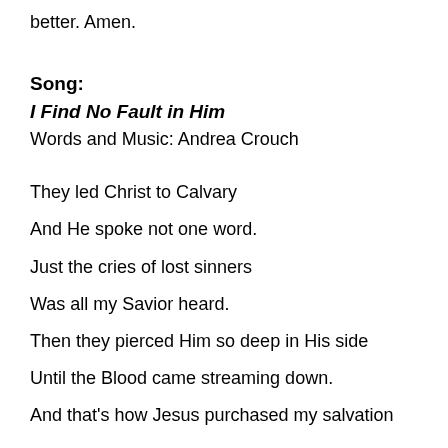better. Amen.
Song:
I Find No Fault in Him
Words and Music: Andrea Crouch
They led Christ to Calvary
And He spoke not one word.
Just the cries of lost sinners
Was all my Savior heard.
Then they pierced Him so deep in His side
Until the Blood came streaming down.
And that's how Jesus purchased my salvation